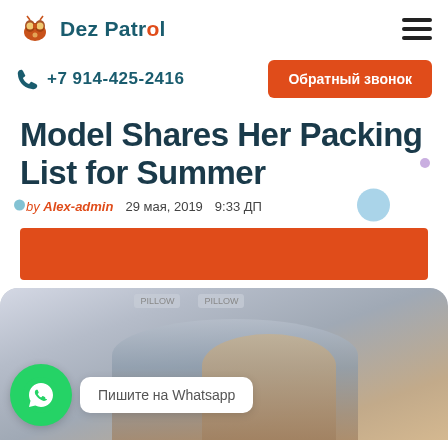Dez Patrol
+7 914-425-2416
Обратный звонок
Model Shares Her Packing List for Summer
by Alex-admin   29 мая, 2019   9:33 ДП
[Figure (other): Orange banner/advertisement placeholder]
[Figure (photo): Photo of people working at a desk, partially visible. WhatsApp widget overlay: green circle with WhatsApp icon and white speech bubble saying 'Пишите на Whatsapp']
Пишите на Whatsapp